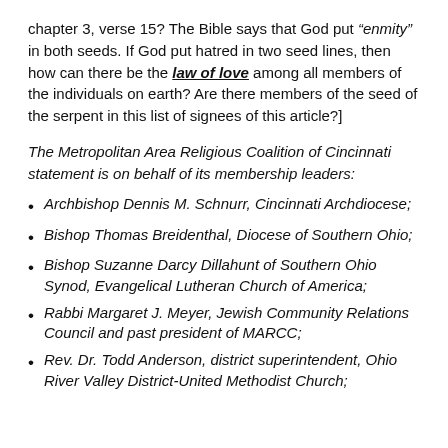chapter 3, verse 15? The Bible says that God put “enmity” in both seeds. If God put hatred in two seed lines, then how can there be the law of love among all members of the individuals on earth? Are there members of the seed of the serpent in this list of signees of this article?]
The Metropolitan Area Religious Coalition of Cincinnati statement is on behalf of its membership leaders:
Archbishop Dennis M. Schnurr, Cincinnati Archdiocese;
Bishop Thomas Breidenthal, Diocese of Southern Ohio;
Bishop Suzanne Darcy Dillahunt of Southern Ohio Synod, Evangelical Lutheran Church of America;
Rabbi Margaret J. Meyer, Jewish Community Relations Council and past president of MARCC;
Rev. Dr. Todd Anderson, district superintendent, Ohio River Valley District-United Methodist Church;